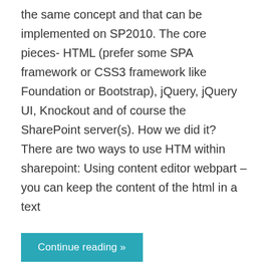the same concept and that can be implemented on SP2010. The core pieces- HTML (prefer some SPA framework or CSS3 framework like Foundation or Bootstrap), jQuery, jQuery UI, Knockout and of course the SharePoint server(s). How we did it? There are two ways to use HTM within sharepoint: Using content editor webpart – you can keep the content of the html in a text
Continue reading »
August 6, 2014
Pi of Life: Setting it up
I have been fascinated about the tiny, cute and